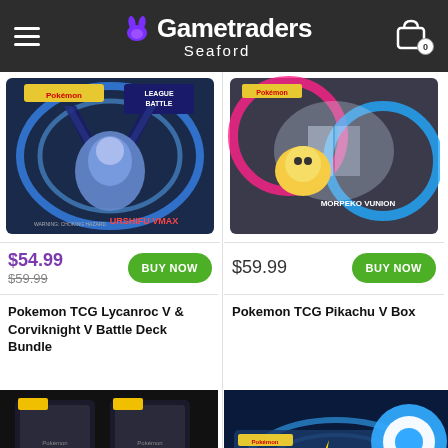Gametraders Seaford
[Figure (photo): Pokemon TCG Urshifu VMAX League Battle Deck box product image]
[Figure (photo): Pokemon TCG Morpeko VUNION box product image]
$54.99 $59.99 BUY NOW
$59.99 BUY NOW
Pokemon TCG Lycanroc V & Corviknight V Battle Deck Bundle
Pokemon TCG Pikachu V Box
[Figure (photo): Pokemon TCG Lycanroc V & Corviknight V Battle Deck Bundle product image (partial)]
[Figure (photo): Pokemon TCG Pikachu V Box product image (partial) with chat bubble overlay]